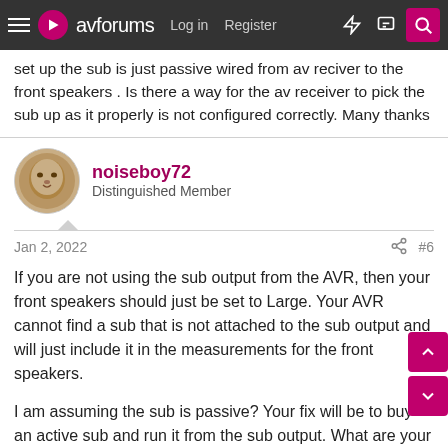avforums | Log in | Register
set up the sub is just passive wired from av reciver to the front speakers . Is there a way for the av receiver to pick the sub up as it properly is not configured correctly. Many thanks
noiseboy72
Distinguished Member
Jan 2, 2022  #6
If you are not using the sub output from the AVR, then your front speakers should just be set to Large. Your AVR cannot find a sub that is not attached to the sub output and will just include it in the measurements for the front speakers.

I am assuming the sub is passive? Your fix will be to buy an active sub and run it from the sub output. What are your current speakers?